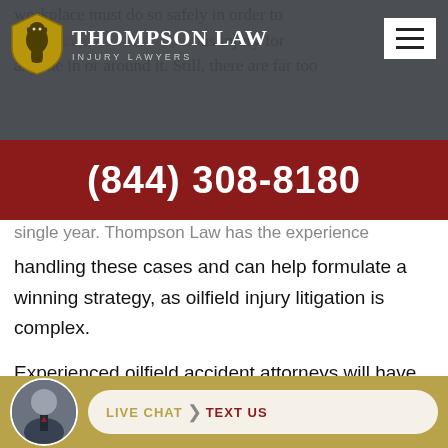Thompson Law Injury Lawyers — (844) 308-8180
workplace must do so safely in order to minimize the risk of a serious injury for anyone in or around it. Still, there are far too
single year. Thompson Law has the experience handling these cases and can help formulate a winning strategy, as oilfield injury litigation is complex.
Experienced oilfield accident attorneys will have background knowledge of the equipment industry, company rules, personnel rules, and more. Hi... Th... experience for... ilfield